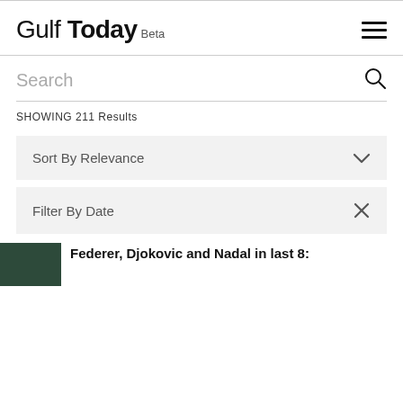Gulf Today Beta
Search
SHOWING 211 Results
Sort By Relevance
Filter By Date
Federer, Djokovic and Nadal in last 8: